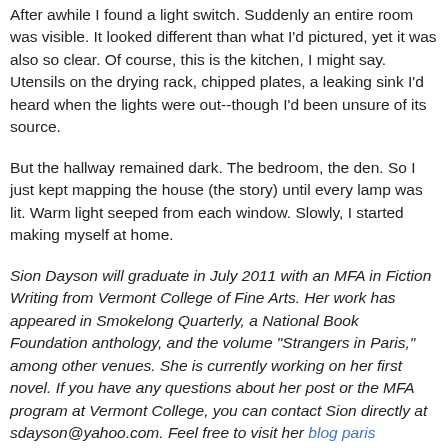After awhile I found a light switch. Suddenly an entire room was visible. It looked different than what I'd pictured, yet it was also so clear. Of course, this is the kitchen, I might say. Utensils on the drying rack, chipped plates, a leaking sink I'd heard when the lights were out--though I'd been unsure of its source.
But the hallway remained dark. The bedroom, the den. So I just kept mapping the house (the story) until every lamp was lit. Warm light seeped from each window. Slowly, I started making myself at home.
Sion Dayson will graduate in July 2011 with an MFA in Fiction Writing from Vermont College of Fine Arts. Her work has appeared in Smokelong Quarterly, a National Book Foundation anthology, and the volume "Strangers in Paris," among other venues. She is currently working on her first novel. If you have any questions about her post or the MFA program at Vermont College, you can contact Sion directly at sdayson@yahoo.com. Feel free to visit her blog paris (im)perfect for information on her writing journey and other adventures in the City of Light.